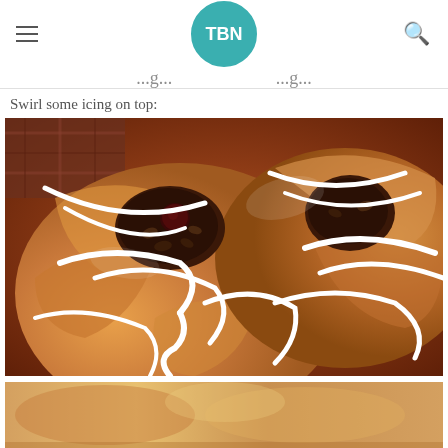TBN
Swirl some icing on top:
[Figure (photo): Close-up photo of sweet rolls/pastries drizzled with white icing, showing golden-brown baked dough with filling and white icing swirled on top]
[Figure (photo): Partial photo at bottom of page showing another food item]